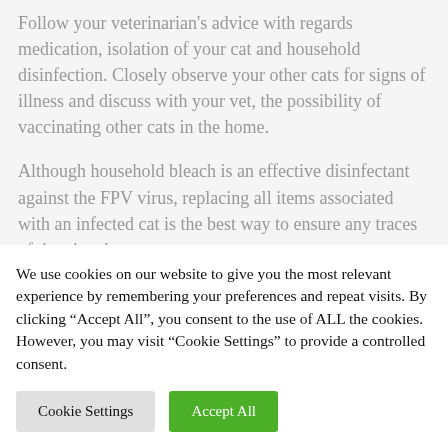Follow your veterinarian's advice with regards medication, isolation of your cat and household disinfection. Closely observe your other cats for signs of illness and discuss with your vet, the possibility of vaccinating other cats in the home.
Although household bleach is an effective disinfectant against the FPV virus, replacing all items associated with an infected cat is the best way to ensure any traces of the virus have
We use cookies on our website to give you the most relevant experience by remembering your preferences and repeat visits. By clicking "Accept All", you consent to the use of ALL the cookies. However, you may visit "Cookie Settings" to provide a controlled consent.